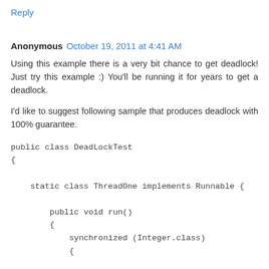Reply
Anonymous  October 19, 2011 at 4:41 AM
Using this example there is a very bit chance to get deadlock! Just try this example :) You'll be running it for years to get a deadlock.
I'd like to suggest following sample that produces deadlock with 100% guarantee.
public class DeadLockTest
{

    static class ThreadOne implements Runnable {

        public void run()
        {
            synchronized (Integer.class)
            {